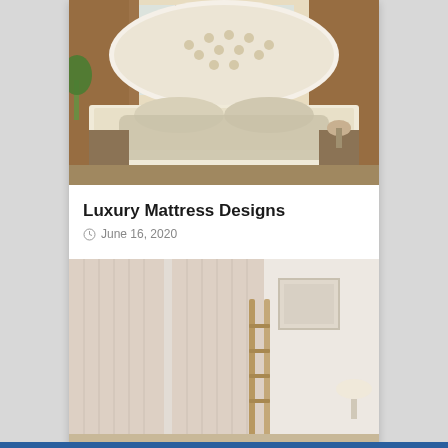[Figure (photo): Luxury ornate white and gold French-style bed with tufted headboard, fluffy pillows, and decorative bedroom setting with curtains and window light]
Luxury Mattress Designs
June 16, 2020
[Figure (photo): Light pink sheer curtains hanging in a bright room with a wooden ladder and framed art on the wall]